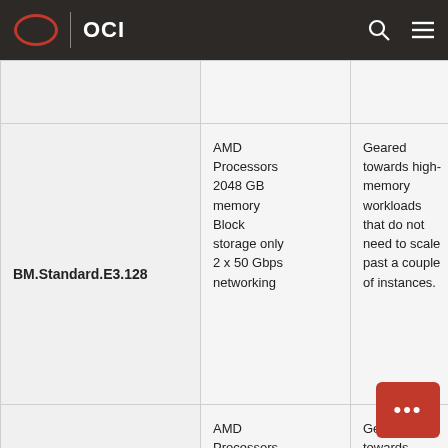OCI
|  |  |  |  |
| --- | --- | --- | --- |
|  |  |  | s |
| BM.Standard.E3.128 | AMD Processors 2048 GB memory Block storage only 2 x 50 Gbps networking | Geared towards high-memory workloads that do not need to scale past a couple of instances. | P b 1 m B s a is th b s |
| VM.Standard.E3.Flex | AMD Processors Flexible memory and CPUs Block storage only Max 48... | Geared towards workloads that are cost sensitive but not... | P b n m... |